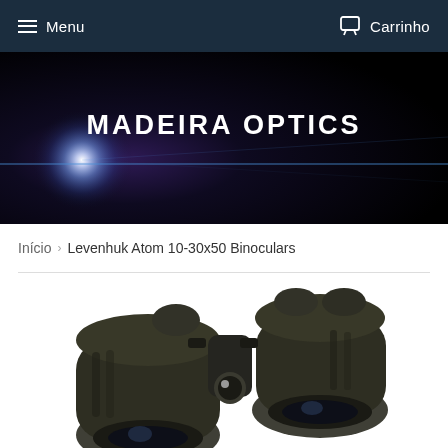Menu   Carrinho
[Figure (illustration): Madeira Optics website hero banner with dark navy/black radial gradient background, bright star-burst lens flare glow at lower left, blue horizontal light streak, and centered white bold text reading MADEIRA OPTICS]
Início › Levenhuk Atom 10-30x50 Binoculars
[Figure (photo): Product photo of Levenhuk Atom 10-30x50 binoculars in dark olive/black rubber armor finish, shown at an angle on white background, with zoom adjustment wheel visible in center]